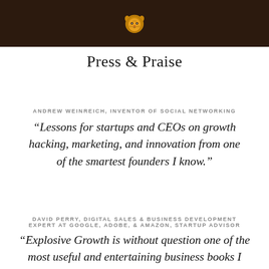[Figure (logo): Gold lion face icon on dark brown background header bar]
Press & Praise
ANDREW WEINREICH, INVENTOR OF SOCIAL NETWORKING
“Lessons for startups and CEOs on growth hacking, marketing, and innovation from one of the smartest founders I know.”
DAVID PERRY, DIGITAL SALES & BUSINESS DEVELOPMENT EXPERT AT GOOGLE, ADOBE, & AMAZON, STARTUP ADVISOR
“Explosive Growth is without question one of the most useful and entertaining business books I have ever read